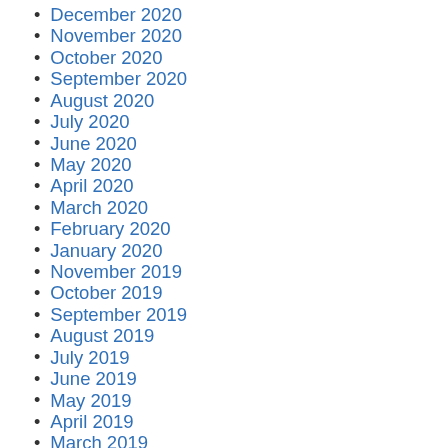December 2020
November 2020
October 2020
September 2020
August 2020
July 2020
June 2020
May 2020
April 2020
March 2020
February 2020
January 2020
November 2019
October 2019
September 2019
August 2019
July 2019
June 2019
May 2019
April 2019
March 2019
February 2019
January 2019